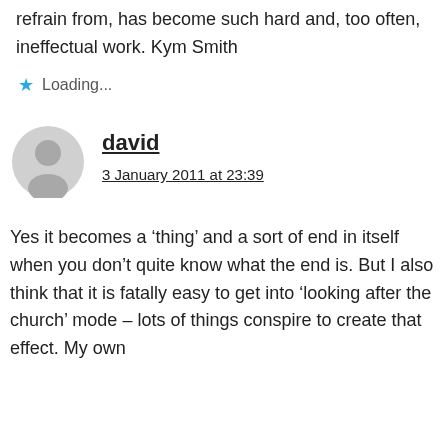refrain from, has become such hard and, too often, ineffectual work. Kym Smith
Loading...
david
3 January 2011 at 23:39
Yes it becomes a ‘thing’ and a sort of end in itself when you don’t quite know what the end is. But I also think that it is fatally easy to get into ‘looking after the church’ mode – lots of things conspire to create that effect. My own